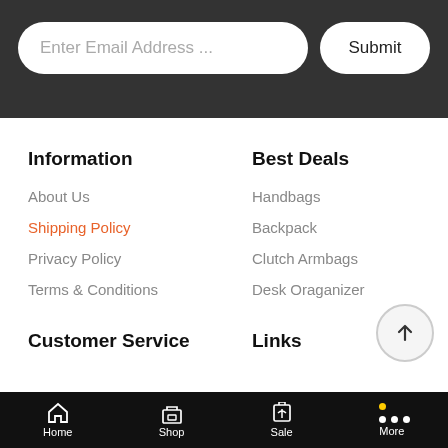Enter Email Address ...
Submit
Information
Best Deals
About Us
Handbags
Shipping Policy
Backpack
Privacy Policy
Clutch Armbags
Terms & Conditions
Desk Oraganizer
Customer Service
Links
Home  Shop  Sale  More